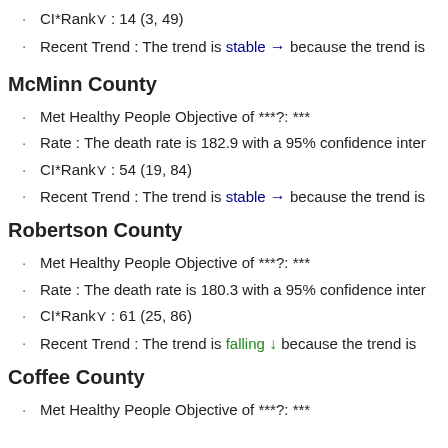CI*Rank⋔ : 14 (3, 49)
Recent Trend : The trend is stable → because the trend is
McMinn County
Met Healthy People Objective of ***?: ***
Rate : The death rate is 182.9 with a 95% confidence inter
CI*Rank⋔ : 54 (19, 84)
Recent Trend : The trend is stable → because the trend is
Robertson County
Met Healthy People Objective of ***?: ***
Rate : The death rate is 180.3 with a 95% confidence inter
CI*Rank⋔ : 61 (25, 86)
Recent Trend : The trend is falling ↓ because the trend is
Coffee County
Met Healthy People Objective of ***?: ***